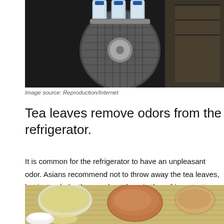[Figure (photo): Photo of a fan with water bottles attached, set against a dark background]
Image source: Reproduction/Internet
Tea leaves remove odors from the refrigerator.
It is common for the refrigerator to have an unpleasant odor. Asians recommend not to throw away the tea leaves, but instead, dry them and put them in the refrigerator to absorb the unpleasant smells.
[Figure (photo): Photo of tea cups with various teas on a bamboo mat]